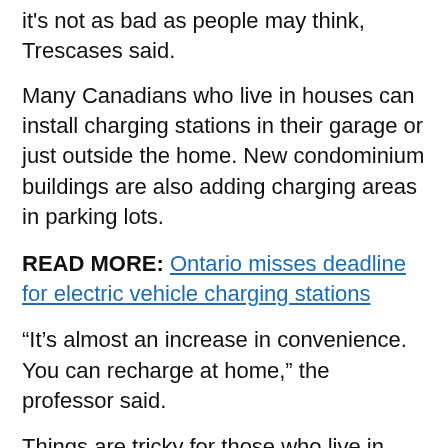it's not as bad as people may think, Trescases said.
Many Canadians who live in houses can install charging stations in their garage or just outside the home. New condominium buildings are also adding charging areas in parking lots.
READ MORE: Ontario misses deadline for electric vehicle charging stations
“It’s almost an increase in convenience. You can recharge at home,” the professor said.
Things are tricky for those who live in older buildings, and in areas without a public vehicle charging station.
The Ontario government had pledged to tackle the issue by building nearly 500 stations across the